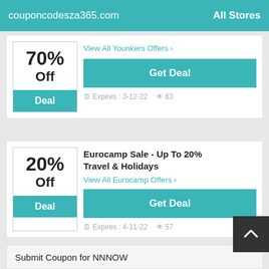couponcodesza365.com   All Stores
70% Off
Deal
View All Younkers Offers >
Get Deal
Expires : 3-12-22   63
Eurocamp Sale - Up To 20% Travel & Holidays
20% Off
Deal
View All Eurocamp Offers >
Get Deal
Expires : 4-11-22   57
Submit Coupon for NNNOW